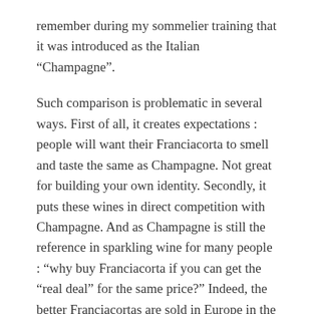remember during my sommelier training that it was introduced as the Italian “Champagne”.
Such comparison is problematic in several ways. First of all, it creates expectations : people will want their Franciacorta to smell and taste the same as Champagne. Not great for building your own identity. Secondly, it puts these wines in direct competition with Champagne. And as Champagne is still the reference in sparkling wine for many people : “why buy Franciacorta if you can get the “real deal” for the same price?” Indeed, the better Franciacortas are sold in Europe in the same price range as most big brand Champagnes, which is between 30 and 40€.
The comparison with Champagne is not too far-fetched, however. Both are made with the same